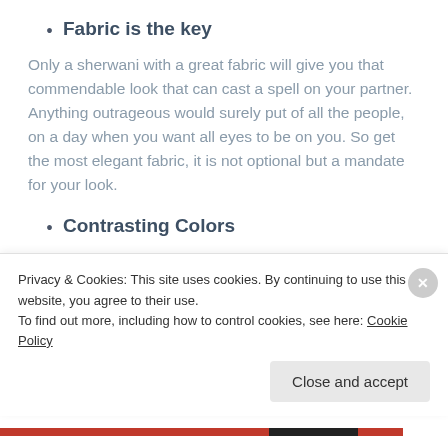Fabric is the key
Only a sherwani with a great fabric will give you that commendable look that can cast a spell on your partner. Anything outrageous would surely put of all the people, on a day when you want all eyes to be on you. So get the most elegant fabric, it is not optional but a mandate for your look.
Contrasting Colors
You don't want start your life in contrasting colors! The
Privacy & Cookies: This site uses cookies. By continuing to use this website, you agree to their use.
To find out more, including how to control cookies, see here: Cookie Policy
Close and accept